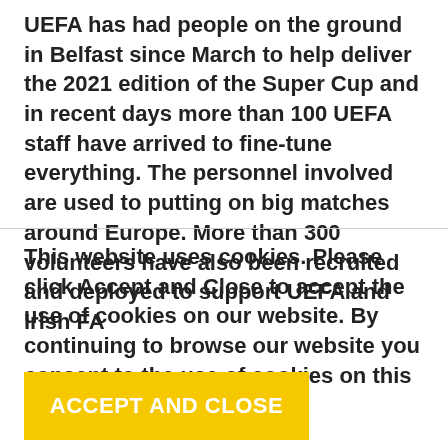UEFA has had people on the ground in Belfast since March to help deliver the 2021 edition of the Super Cup and in recent days more than 100 UEFA staff have arrived to fine-tune everything. The personnel involved are used to putting on big matches around Europe. More than 300 volunteers have also been recruited and deployed to support UEFA and Irish FA
This website uses cookies. Please click Accept and Close to accept the use of cookies on our website. By continuing to browse our website you consent to the use of cookies on this website.
ACCEPT AND CLOSE